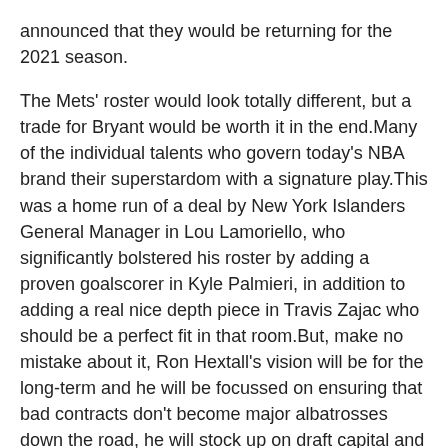announced that they would be returning for the 2021 season.
The Mets' roster would look totally different, but a trade for Bryant would be worth it in the end.Many of the individual talents who govern today's NBA brand their superstardom with a signature play.This was a home run of a deal by New York Islanders General Manager in Lou Lamoriello, who significantly bolstered his roster by adding a proven goalscorer in Kyle Palmieri, in addition to adding a real nice depth piece in Travis Zajac who should be a perfect fit in that room.But, make no mistake about it, Ron Hextall's vision will be for the long-term and he will be focussed on ensuring that bad contracts don't become major albatrosses down the road, he will stock up on draft capital and he will also make it his priority to sort out and then bolster and beef up what is a razor thin farm system, putting in place a rich pipeline that can ensure any rebuild